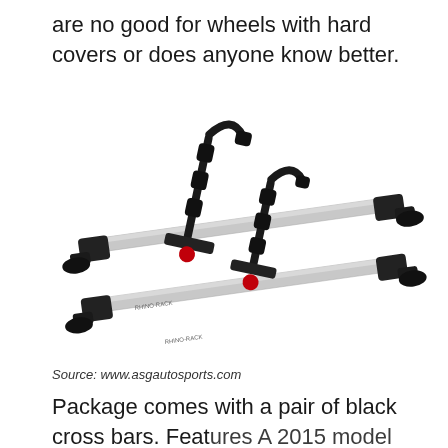are no good for wheels with hard covers or does anyone know better.
[Figure (photo): A kayak or bike roof rack carrier consisting of two silver crossbars with black clamp feet, and two J-style cradle arms with foam padding and red mounting knobs, photographed on white background. Source: www.asgautosports.com]
Source: www.asgautosports.com
Package comes with a pair of black cross bars. Features A 2015 model better of supports